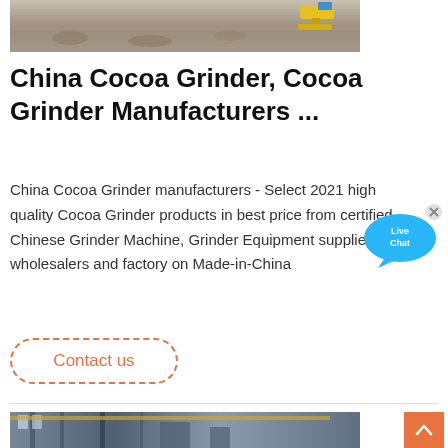[Figure (photo): Top image showing gravel/rock material with construction equipment in background]
China Cocoa Grinder, Cocoa Grinder Manufacturers ...
China Cocoa Grinder manufacturers - Select 2021 high quality Cocoa Grinder products in best price from certified Chinese Grinder Machine, Grinder Equipment suppliers, wholesalers and factory on Made-in-China
[Figure (illustration): Live Chat button/widget with blue speech bubble graphic]
Contact us
[Figure (photo): Bottom image showing industrial factory interior with machinery and crane structure]